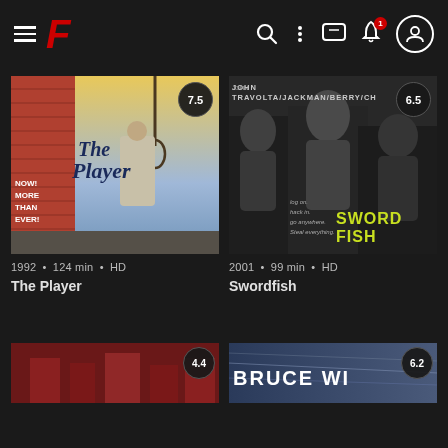F (streaming app header with hamburger menu, logo F, search, menu, chat, bell with badge 1, profile icons)
[Figure (screenshot): Movie poster for The Player (1992) with rating badge 7.5]
1992 • 124 min • HD
The Player
[Figure (screenshot): Movie poster for Swordfish (2001) with rating badge 6.5, showing John Travolta/Jackman/Halle Berry cast]
2001 • 99 min • HD
Swordfish
[Figure (screenshot): Partially visible movie poster (bottom left) with rating badge 4.4]
[Figure (screenshot): Partially visible movie poster for Bruce Willis film (bottom right) with rating badge 6.2]